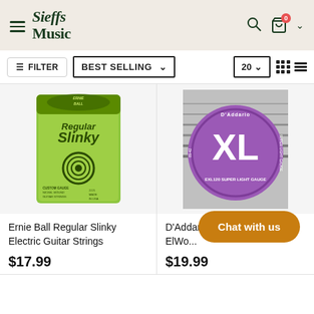Sieffs Music - Navigation header with hamburger menu, logo, search, cart (0), chevron
FILTER | BEST SELLING (dropdown) | 20 (dropdown) | grid/list view toggle
[Figure (photo): Ernie Ball Regular Slinky Electric Guitar Strings package - green packaging]
[Figure (photo): D'Addario EXL120 Super Light Gauge guitar strings package - purple/grey XL branding]
Ernie Ball Regular Slinky Electric Guitar Strings
D'Addario EXL120 09-42 Elec... Wou...
$17.99
$19.99
Chat with us